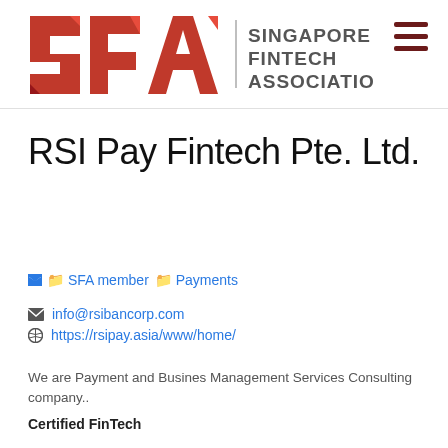[Figure (logo): Singapore Fintech Association (SFA) logo with red geometric letters and text 'SINGAPORE FINTECH ASSOCIATION']
RSI Pay Fintech Pte. Ltd.
SFA member
Payments
info@rsibancorp.com
https://rsipay.asia/www/home/
We are Payment and Busines Management Services Consulting company..
Certified FinTech
No
UEN